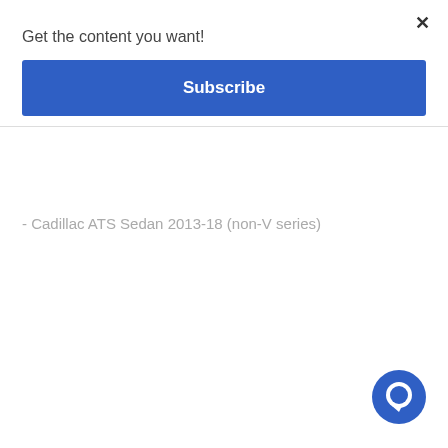×
Get the content you want!
Subscribe
- Cadillac ATS Sedan 2013-18 (non-V series)
[Figure (illustration): Blue circular chat bubble icon in bottom right corner]